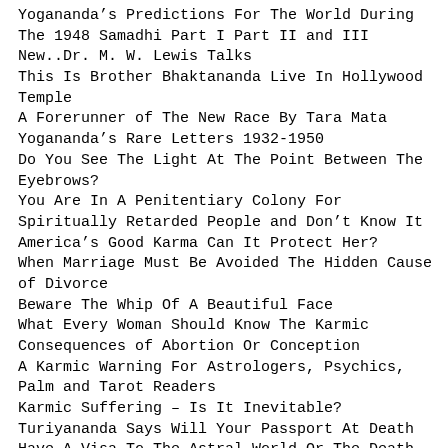Yogananda's Predictions For The World During The 1948 Samadhi Part I Part II and III
New..Dr. M. W. Lewis Talks
This Is Brother Bhaktananda Live In Hollywood Temple
A Forerunner of The New Race By Tara Mata
Yogananda's Rare Letters 1932-1950
Do You See The Light At The Point Between The Eyebrows?
You Are In A Penitentiary Colony For Spiritually Retarded People and Don't Know It
America's Good Karma Can It Protect Her?
When Marriage Must Be Avoided The Hidden Cause of Divorce
Beware The Whip Of A Beautiful Face
What Every Woman Should Know The Karmic Consequences of Abortion Or Conception
A Karmic Warning For Astrologers, Psychics, Palm and Tarot Readers
Karmic Suffering – Is It Inevitable?
Turiyananda Says Will Your Passport At Death Have A Visa To The Astral World Or The Death Sleep?